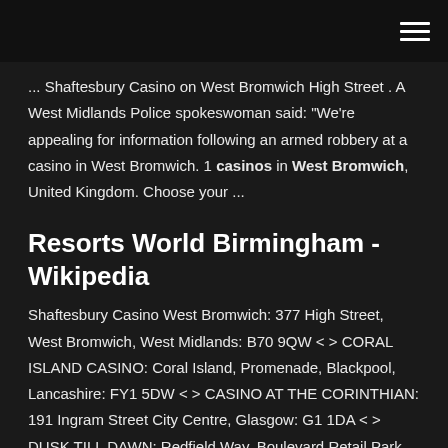... Shaftesbury Casino on West Bromwich High Street . A West Midlands Police spokeswoman said: "We're appealing for information following an armed robbery at a casino in West Bromwich. 1 casinos in West Bromwich, United Kingdom. Choose your ...
Resorts World Birmingham - Wikipedia
Shaftesbury Casino West Bromwich: 377 High Street, West Bromwich, West Midlands: B70 9QW < > CORAL ISLAND CASINO: Coral Island, Promenade, Blackpool, Lancashire: FY1 5DW < > CASINO AT THE CORINTHIAN: 191 Ingram Street City Centre, Glasgow: G1 1DA < > DUSK TILL DAWN: Redfield Way, Boulevard Retail Park, Lenton, Nottingham: